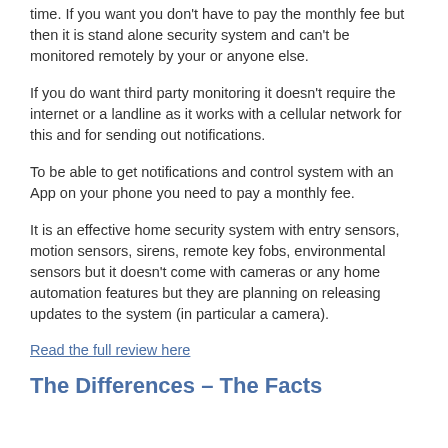time. If you want you don't have to pay the monthly fee but then it is stand alone security system and can't be monitored remotely by your or anyone else.
If you do want third party monitoring it doesn't require the internet or a landline as it works with a cellular network for this and for sending out notifications.
To be able to get notifications and control system with an App on your phone you need to pay a monthly fee.
It is an effective home security system with entry sensors, motion sensors, sirens, remote key fobs, environmental sensors but it doesn't come with cameras or any home automation features but they are planning on releasing updates to the system (in particular a camera).
Read the full review here
The Differences – The Facts